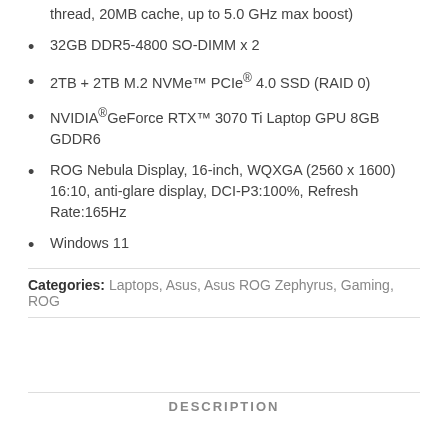thread, 20MB cache, up to 5.0 GHz max boost)
32GB DDR5-4800 SO-DIMM x 2
2TB + 2TB M.2 NVMe™ PCIe® 4.0 SSD (RAID 0)
NVIDIA®GeForce RTX™ 3070 Ti Laptop GPU 8GB GDDR6
ROG Nebula Display, 16-inch, WQXGA (2560 x 1600) 16:10, anti-glare display, DCI-P3:100%, Refresh Rate:165Hz
Windows 11
Categories: Laptops, Asus, Asus ROG Zephyrus, Gaming, ROG
DESCRIPTION